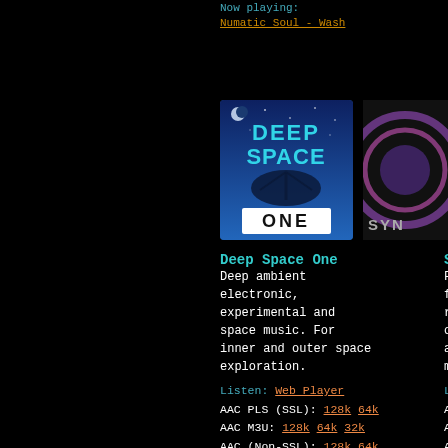Now playing: Numatic Soul - Wash
Now playing: Robert... Diffus...
[Figure (logo): Deep Space One radio station logo - blue background with satellite dish silhouette and text DEEP SPACE ONE]
[Figure (logo): Symphony radio station logo - partially visible, dark with circular graphic and text SYN...]
Deep Space One
Deep ambient electronic, experimental and space music. For inner and outer space exploration.
Listen: Web Player
AAC PLS (SSL): 128k 64k
AAC M3U: 128k 64k 32k
AAC (Non-SSL): 128k 64k
MP3 PLS (SSL): 128k
MP3 M3U: 128k
Synph...
Featur... from a... record... on moo... ambier... music.
Listen...
AAC PL...
AAC M3...
AAC (N...